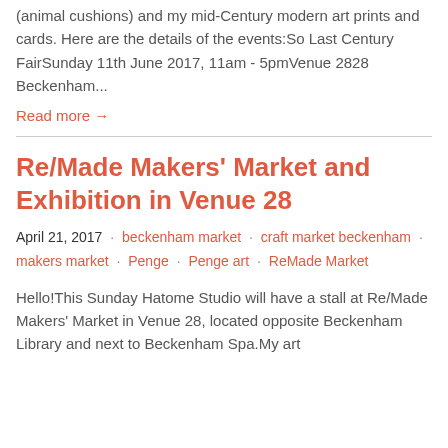(animal cushions) and my mid-Century modern art prints and cards. Here are the details of the events:So Last Century FairSunday 11th June 2017, 11am - 5pmVenue 2828 Beckenham...
Read more →
Re/Made Makers' Market and Exhibition in Venue 28
April 21, 2017  ·  beckenham market  ·  craft market beckenham  ·  makers market  ·  Penge  ·  Penge art  ·  ReMade Market
Hello!This Sunday Hatome Studio will have a stall at Re/Made Makers' Market in Venue 28, located opposite Beckenham Library and next to Beckenham Spa.My art